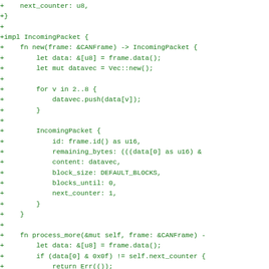Rust source code diff showing implementation of IncomingPacket struct methods including new() and process_more()